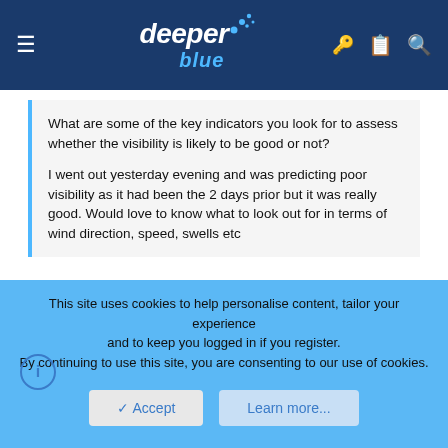deeper blue [navigation header with menu, logo, and icons]
What are some of the key indicators you look for to assess whether the visibility is likely to be good or not?

I went out yesterday evening and was predicting poor visibility as it had been the 2 days prior but it was really good. Would love to know what to look out for in terms of wind direction, speed, swells etc
If it were very high seas with churned up bottom, it will take a day or two for the visibility to improve even if the sea is flat the day following the storm. This depends on the locations and prevailing water conditions. Generally, it is guess work that has a high probability of error and can't beat showing up at the site and checking visibility with your own eyes. To do it accurately means that you have to predict wind direction, speed,
This site uses cookies to help personalise content, tailor your experience and to keep you logged in if you register.
By continuing to use this site, you are consenting to our use of cookies.